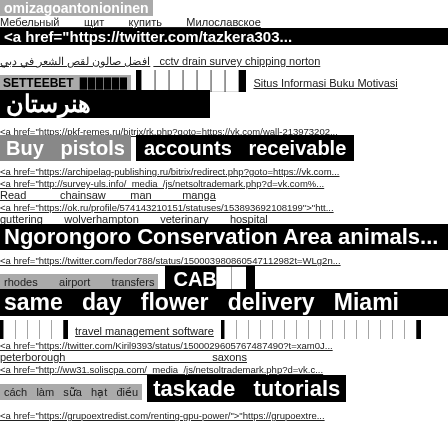omizagoantonioninen
Мебельный щит купить Милославское
<a href="https://twitter.com/tazkera303...
افضل صالون لقص الشعر في دبي   cctv drain survey chipping norton
SETTEEBET [blocks] [blocks] Situs Informasi Buku Motivasi
هنرستان
<a href="https://pkf-remes.ru/bitrix/rk.php?goto=https://vk.com/wall-213973202...
Buy pistols   accounts receivable
<a href="https://archipelag-publishing.ru/bitrix/redirect.php?goto=https://vk.com...
<a href="http://survey-uls.info/_media_/js/netsoltrademark.php?d=vk.com%...
Read chainsaw man manga
<a href="https://ok.ru/profile/574143210151/statuses/153893692108199">"htt...
guttering wolverhampton veterinary hospital
Ngorongoro Conservation Area animals...
<a href="https://twitter.com/fedor788/status/150003980860547112982t=WLg2n...
rhodes airport transfers   CAB[blocks]
same day flower delivery Miami
[blocks]  travel management software  [blocks]
<a href="https://twitter.com/Kiril9393/status/1500029605767487490?t=xam0J...
peterborough   saxons
<a href="http://ww31.soliscpa.com/_media_/js/netsoltrademark.php?d=vk.c...
cách làm sữa hạt điều   taskade tutorials
<a href="https://grupoextredist.com/renting-gpu-power/">"https://grupoextre...